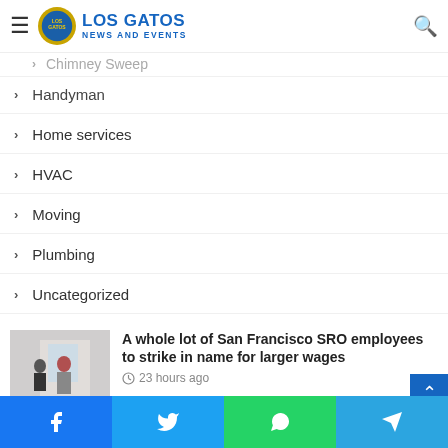Los Gatos News and Events
Chimney Sweep
Handyman
Home services
HVAC
Moving
Plumbing
Uncategorized
[Figure (photo): Two people standing in a room near a window]
A whole lot of San Francisco SRO employees to strike in name for larger wages
23 hours ago
[Figure (photo): Fire scene with orange smoky sky]
Blaze at 18,000 acres, 26% containment
1 day ago
Facebook Twitter WhatsApp Telegram